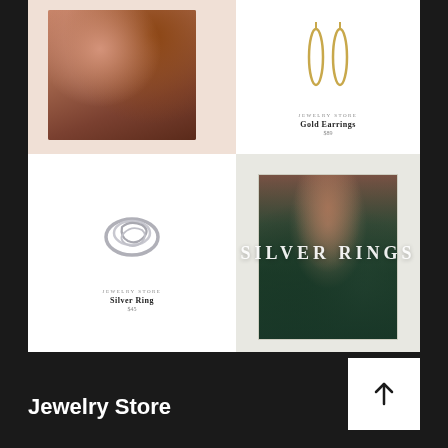[Figure (photo): Woman's profile showing ear with small hoop earring, auburn hair, blush/peach background]
[Figure (photo): Gold earrings product shot on white background with thin elongated oval shapes]
Gold Earrings
[Figure (photo): Silver ring product shot on white background - twisted/knot style silver ring]
Silver Ring
[Figure (photo): Lifestyle photo of hand with silver rings on dark green/teal background, text overlay SILVER RINGS, woman's face partially visible]
Jewelry Store